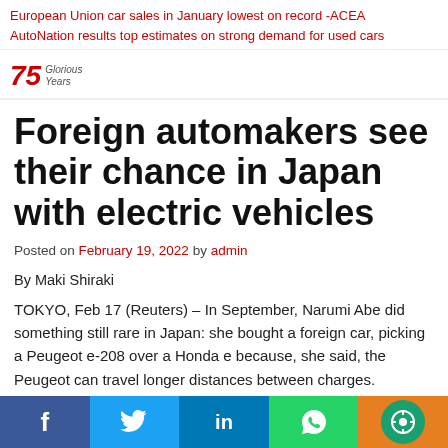European Union car sales in January lowest on record -ACEA
AutoNation results top estimates on strong demand for used cars
[Figure (logo): Reuters 75 Glorious Years logo with stylized script text]
Foreign automakers see their chance in Japan with electric vehicles
Posted on February 19, 2022 by admin
By Maki Shiraki
TOKYO, Feb 17 (Reuters) – In September, Narumi Abe did something still rare in Japan: she bought a foreign car, picking a Peugeot e-208 over a Honda e because, she said, the Peugeot can travel longer distances between charges.
Social share bar: Facebook, Twitter, LinkedIn, WhatsApp, Comment